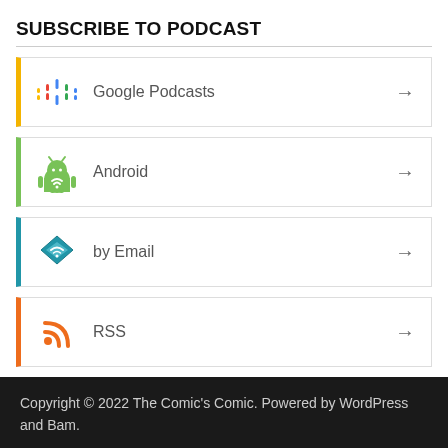SUBSCRIBE TO PODCAST
Google Podcasts
Android
by Email
RSS
Copyright © 2022 The Comic's Comic. Powered by WordPress and Bam.